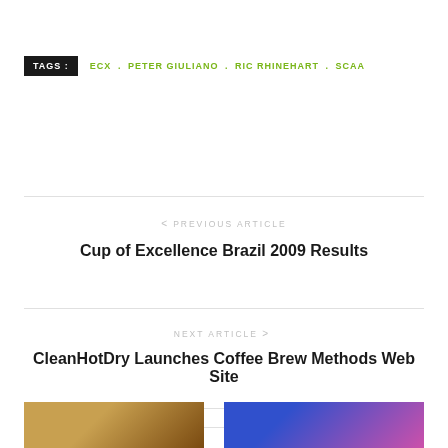TAGS :  ECX  .  PETER GIULIANO  .  RIC RHINEHART  .  SCAA
< PREVIOUS ARTICLE
Cup of Excellence Brazil 2009 Results
NEXT ARTICLE >
CleanHotDry Launches Coffee Brew Methods Web Site
Related Posts
[Figure (photo): Photo thumbnail on left side]
[Figure (photo): Photo thumbnail on right side]